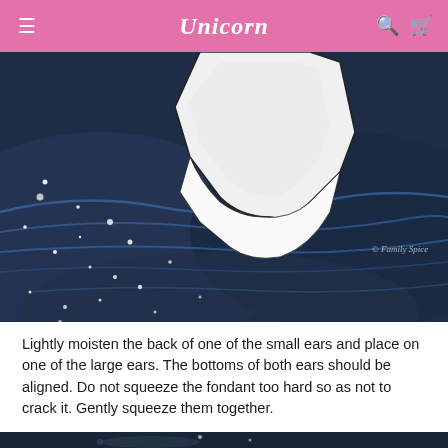Unicorn
[Figure (photo): Close-up photo of white fondant unicorn ear pieces on a dark blue galaxy-swirled surface with white sparkle dust and blue streaks. A watermark reads 'Family Spice'.]
Lightly moisten the back of one of the small ears and place on one of the large ears. The bottoms of both ears should be aligned. Do not squeeze the fondant too hard so as not to crack it. Gently squeeze them together.
[Figure (photo): Partial photo of a dark blue galaxy-patterned surface with white sparkles, bottom portion of page.]